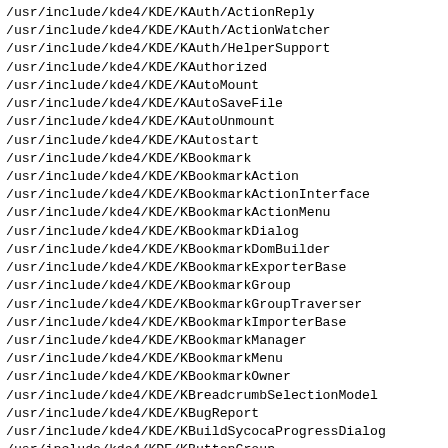/usr/include/kde4/KDE/KAuth/ActionReply
/usr/include/kde4/KDE/KAuth/ActionWatcher
/usr/include/kde4/KDE/KAuth/HelperSupport
/usr/include/kde4/KDE/KAuthorized
/usr/include/kde4/KDE/KAutoMount
/usr/include/kde4/KDE/KAutoSaveFile
/usr/include/kde4/KDE/KAutoUnmount
/usr/include/kde4/KDE/KAutostart
/usr/include/kde4/KDE/KBookmark
/usr/include/kde4/KDE/KBookmarkAction
/usr/include/kde4/KDE/KBookmarkActionInterface
/usr/include/kde4/KDE/KBookmarkActionMenu
/usr/include/kde4/KDE/KBookmarkDialog
/usr/include/kde4/KDE/KBookmarkDomBuilder
/usr/include/kde4/KDE/KBookmarkExporterBase
/usr/include/kde4/KDE/KBookmarkGroup
/usr/include/kde4/KDE/KBookmarkGroupTraverser
/usr/include/kde4/KDE/KBookmarkImporterBase
/usr/include/kde4/KDE/KBookmarkManager
/usr/include/kde4/KDE/KBookmarkMenu
/usr/include/kde4/KDE/KBookmarkOwner
/usr/include/kde4/KDE/KBreadcrumbSelectionModel
/usr/include/kde4/KDE/KBugReport
/usr/include/kde4/KDE/KBuildSycocaProgressDialog
/usr/include/kde4/KDE/KButtonGroup
/usr/include/kde4/KDE/KCModule
/usr/include/kde4/KDE/KCModuleContainer
/usr/include/kde4/KDE/KCModuleInfo
/usr/include/kde4/KDE/KCModuleLoader
/usr/include/kde4/KDE/KCModuleProxy
/usr/include/kde4/KDE/KCMultiDialog